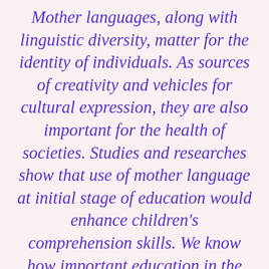Mother languages, along with linguistic diversity, matter for the identity of individuals. As sources of creativity and vehicles for cultural expression, they are also important for the health of societies. Studies and researches show that use of mother language at initial stage of education would enhance children's comprehension skills. We know how important education in the mother language is for learning outcomes. Mother language instruction is also a powerful